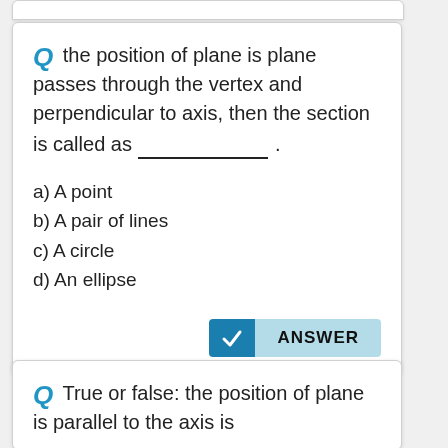Q the position of plane is plane passes through the vertex and perpendicular to axis, then the section is called as ____________ .
a) A point
b) A pair of lines
c) A circle
d) An ellipse
ANSWER
Q True or false: the position of plane is parallel to the axis is